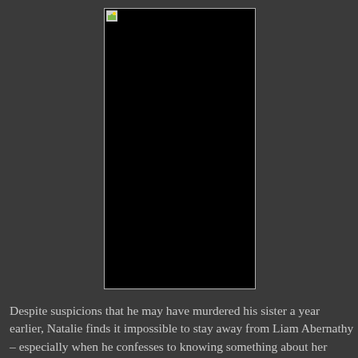[Figure (photo): A dark/black rectangular image with a small broken image icon in the top-left corner, bordered by a thin light gray frame.]
Despite suspicions that he may have murdered his sister a year earlier, Natalie finds it impossible to stay away from Liam Abernathy – especially when he confesses to knowing something about her parents. Soon she's following him into the forest, where